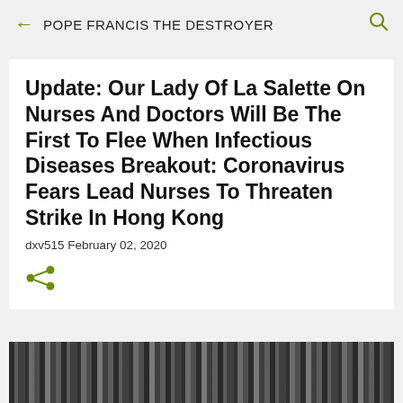POPE FRANCIS THE DESTROYER
Update: Our Lady Of La Salette On Nurses And Doctors Will Be The First To Flee When Infectious Diseases Breakout: Coronavirus Fears Lead Nurses To Threaten Strike In Hong Kong
dxv515 February 02, 2020
[Figure (illustration): Black and white illustration partially visible at the bottom of the page, appears to show detailed line art figures]
[Figure (other): Share icon (less-than-bracket style share symbol in olive/dark yellow-green color)]